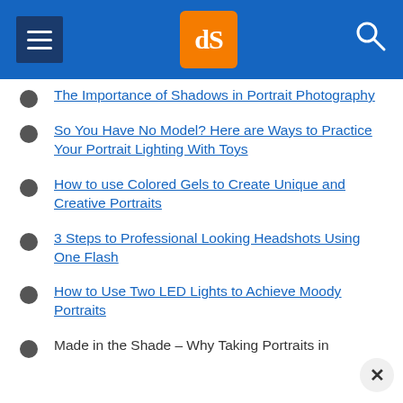[Figure (logo): dPS website header with hamburger menu, orange dPS logo, and search icon on blue background]
The Importance of Shadows in Portrait Photography
So You Have No Model? Here are Ways to Practice Your Portrait Lighting With Toys
How to use Colored Gels to Create Unique and Creative Portraits
3 Steps to Professional Looking Headshots Using One Flash
How to Use Two LED Lights to Achieve Moody Portraits
Made in the Shade – Why Taking Portraits in